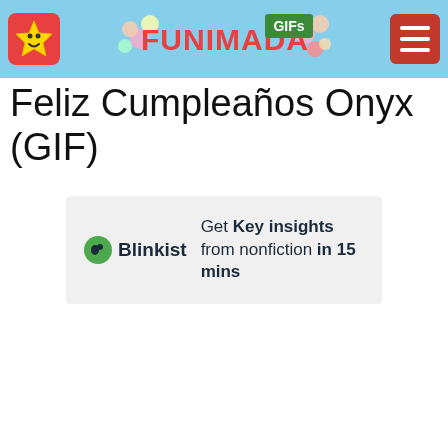FUNIMADA GIFs
Feliz Cumpleaños Onyx (GIF)
[Figure (other): Blinkist advertisement banner: Get Key insights from nonfiction in 15 mins]